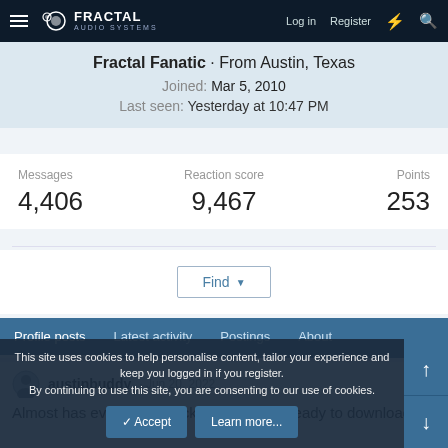Fractal Audio Systems — Log in  Register
Fractal Fanatic · From Austin, Texas
Joined: Mar 5, 2010
Last seen: Yesterday at 10:47 PM
| Messages | Reaction score | Points |
| --- | --- | --- |
| 4,406 | 9,467 | 253 |
Find
Profile posts  Latest activity  Postings  About
austinbuddy · Jun 20, 2022
Almost has every TonePack updated and ready to download!
This site uses cookies to help personalise content, tailor your experience and keep you logged in if you register. By continuing to use this site, you are consenting to our use of cookies.
Accept  Learn more...